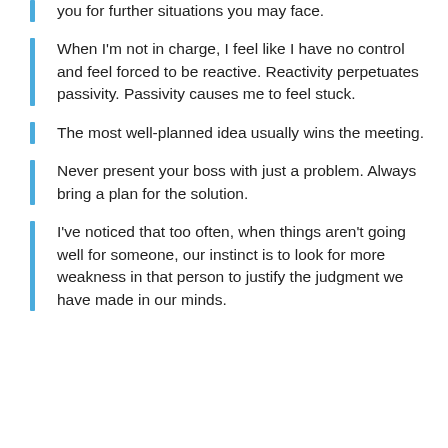you for further situations you may face.
When I'm not in charge, I feel like I have no control and feel forced to be reactive. Reactivity perpetuates passivity. Passivity causes me to feel stuck.
The most well-planned idea usually wins the meeting.
Never present your boss with just a problem. Always bring a plan for the solution.
I've noticed that too often, when things aren't going well for someone, our instinct is to look for more weakness in that person to justify the judgment we have made in our minds.